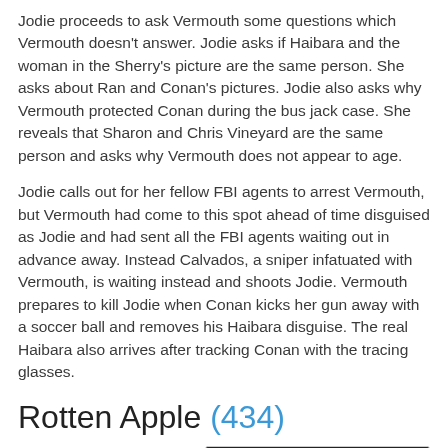Jodie proceeds to ask Vermouth some questions which Vermouth doesn't answer. Jodie asks if Haibara and the woman in the Sherry's picture are the same person. She asks about Ran and Conan's pictures. Jodie also asks why Vermouth protected Conan during the bus jack case. She reveals that Sharon and Chris Vineyard are the same person and asks why Vermouth does not appear to age.
Jodie calls out for her fellow FBI agents to arrest Vermouth, but Vermouth had come to this spot ahead of time disguised as Jodie and had sent all the FBI agents waiting out in advance away. Instead Calvados, a sniper infatuated with Vermouth, is waiting instead and shoots Jodie. Vermouth prepares to kill Jodie when Conan kicks her gun away with a soccer ball and removes his Haibara disguise. The real Haibara also arrives after tracking Conan with the tracing glasses.
Rotten Apple (434)
Conan, distracted by Haibara, is shot with his own stun-gun
[Figure (photo): Anime screenshot showing a blonde character inside a vehicle, dark blue background]